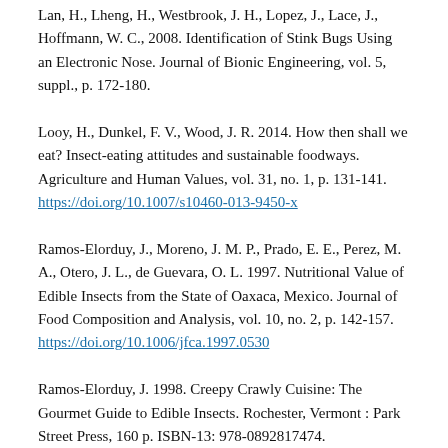Lan, H., Lheng, H., Westbrook, J. H., Lopez, J., Lace, J., Hoffmann, W. C., 2008. Identification of Stink Bugs Using an Electronic Nose. Journal of Bionic Engineering, vol. 5, suppl., p. 172-180.
Looy, H., Dunkel, F. V., Wood, J. R. 2014. How then shall we eat? Insect-eating attitudes and sustainable foodways. Agriculture and Human Values, vol. 31, no. 1, p. 131-141. https://doi.org/10.1007/s10460-013-9450-x
Ramos-Elorduy, J., Moreno, J. M. P., Prado, E. E., Perez, M. A., Otero, J. L., de Guevara, O. L. 1997. Nutritional Value of Edible Insects from the State of Oaxaca, Mexico. Journal of Food Composition and Analysis, vol. 10, no. 2, p. 142-157. https://doi.org/10.1006/jfca.1997.0530
Ramos-Elorduy, J. 1998. Creepy Crawly Cuisine: The Gourmet Guide to Edible Insects. Rochester, Vermont : Park Street Press, 160 p. ISBN-13: 978-0892817474.